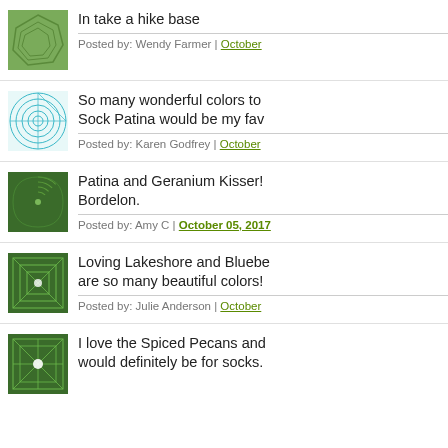[Figure (illustration): Green geometric polygon pattern thumbnail]
In take a hike base
Posted by: Wendy Farmer | October
[Figure (illustration): Cyan/teal concentric grid pattern thumbnail]
So many wonderful colors to Sock Patina would be my fav
Posted by: Karen Godfrey | October
[Figure (illustration): Dark green spiral pattern thumbnail]
Patina and Geranium Kisser! Bordelon.
Posted by: Amy C | October 05, 2017
[Figure (illustration): Dark green geometric diamond grid pattern thumbnail]
Loving Lakeshore and Bluebe are so many beautiful colors!
Posted by: Julie Anderson | October
[Figure (illustration): Dark green geometric star pattern thumbnail]
I love the Spiced Pecans and would definitely be for socks.